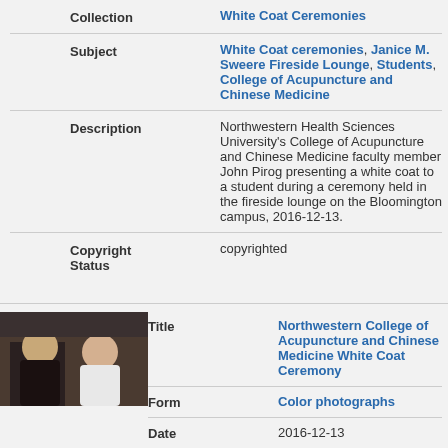| Field | Value |
| --- | --- |
| Collection | White Coat Ceremonies |
| Subject | White Coat ceremonies, Janice M. Sweere Fireside Lounge, Students, College of Acupuncture and Chinese Medicine |
| Description | Northwestern Health Sciences University's College of Acupuncture and Chinese Medicine faculty member John Pirog presenting a white coat to a student during a ceremony held in the fireside lounge on the Bloomington campus, 2016-12-13. |
| Copyright Status | copyrighted |
[Figure (photo): Thumbnail photo of two people at a white coat ceremony]
| Field | Value |
| --- | --- |
| Title | Northwestern College of Acupuncture and Chinese Medicine White Coat Ceremony |
| Form | Color photographs |
| Date | 2016-12-13 |
| Collection | White Coat Ceremonies |
| Subject | White Coat ceremonies, Janice M. |